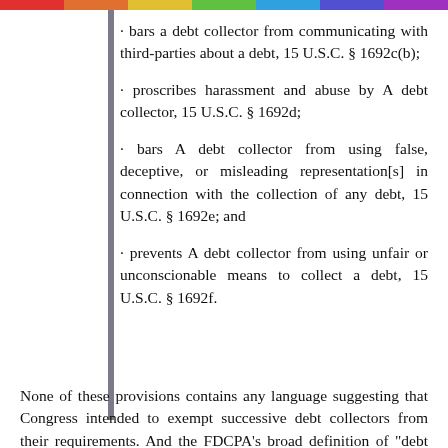· bars a debt collector from communicating with third-parties about a debt, 15 U.S.C. § 1692c(b);
· proscribes harassment and abuse by A debt collector, 15 U.S.C. § 1692d;
· bars A debt collector from using false, deceptive, or misleading representation[s] in connection with the collection of any debt, 15 U.S.C. § 1692e; and
· prevents A debt collector from using unfair or unconscionable means to collect a debt, 15 U.S.C. § 1692f.
None of these provisions contains any language suggesting that Congress intended to exempt successive debt collectors from their requirements. And the FDCPA's broad definition of "debt collector" plainly encompasses those persons who take over debt collection efforts from another. See 15 U.S.C. § 1692a(6) (defining